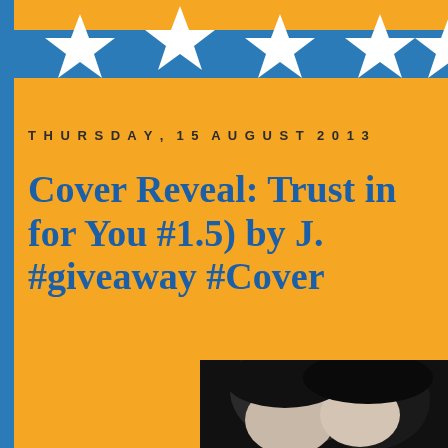[Figure (illustration): Top decorative banner with blue ribbon strip and white star shapes arranged across the top of the page]
THURSDAY, 15 AUGUST 2013
Cover Reveal: Trust in for You #1.5) by J. #giveaway #Cover
[Figure (photo): Black and white photo of two people kissing, cropped showing faces/hair, partially visible at bottom right of page]